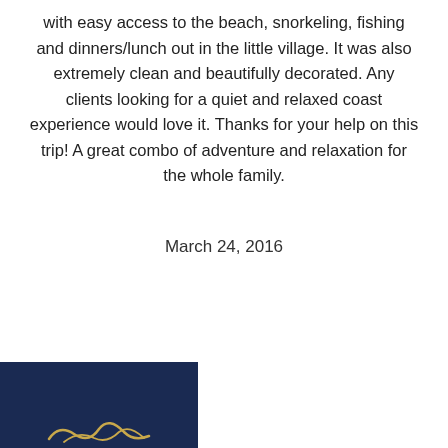with easy access to the beach, snorkeling, fishing and dinners/lunch out in the little village. It was also extremely clean and beautifully decorated. Any clients looking for a quiet and relaxed coast experience would love it. Thanks for your help on this trip! A great combo of adventure and relaxation for the whole family.
March 24, 2016
[Figure (logo): Dark navy blue rectangular logo area with a gold/yellow decorative script or emblem partially visible at the bottom]